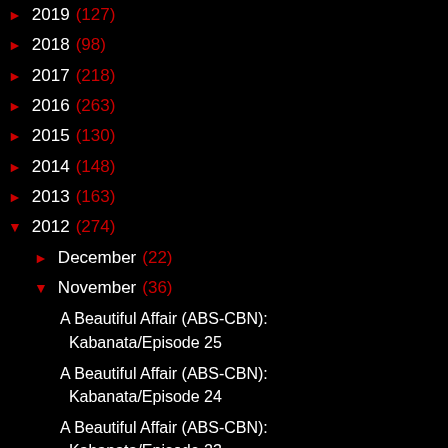► 2019 (127)
► 2018 (98)
► 2017 (218)
► 2016 (263)
► 2015 (130)
► 2014 (148)
► 2013 (163)
▼ 2012 (274)
► December (22)
▼ November (36)
A Beautiful Affair (ABS-CBN): Kabanata/Episode 25
A Beautiful Affair (ABS-CBN): Kabanata/Episode 24
A Beautiful Affair (ABS-CBN): Kabanata/Episode 23
A Beautiful Affair (ABS-CBN): Kabanata/Episode 22
A Beautiful Affair (ABS-CBN): Kabanata/Episode 21